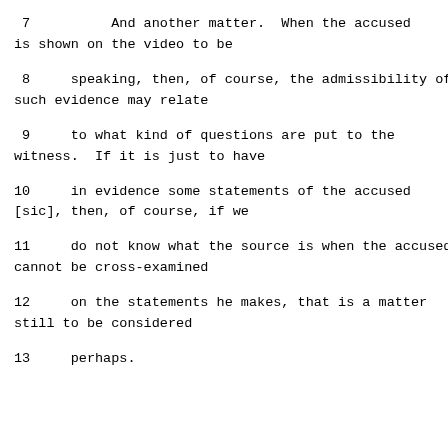7          And another matter.  When the accused is shown on the video to be
8     speaking, then, of course, the admissibility of such evidence may relate
9     to what kind of questions are put to the witness.  If it is just to have
10    in evidence some statements of the accused [sic], then, of course, if we
11    do not know what the source is when the accused cannot be cross-examined
12    on the statements he makes, that is a matter still to be considered
13    perhaps.